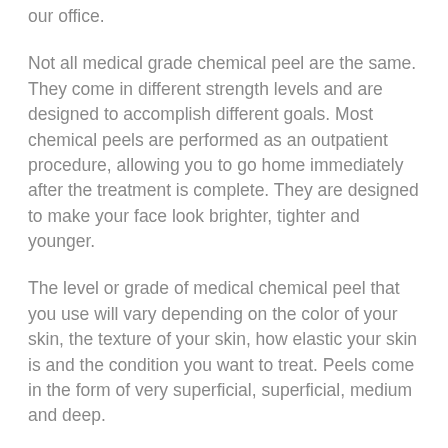our office.
Not all medical grade chemical peel are the same. They come in different strength levels and are designed to accomplish different goals. Most chemical peels are performed as an outpatient procedure, allowing you to go home immediately after the treatment is complete. They are designed to make your face look brighter, tighter and younger.
The level or grade of medical chemical peel that you use will vary depending on the color of your skin, the texture of your skin, how elastic your skin is and the condition you want to treat. Peels come in the form of very superficial, superficial, medium and deep.
The medical grade chemical peels, like the SkinMedica Rejuvenize peel we offer at Mad Peaches Med Spa are safe and effective. During a